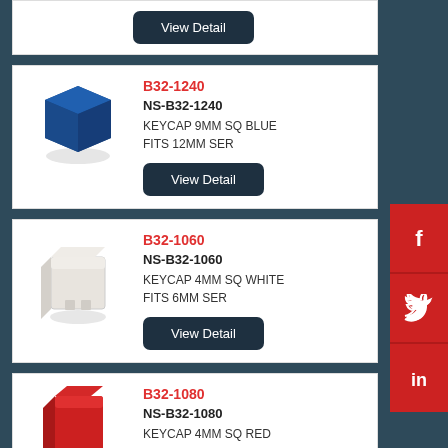[Figure (other): View Detail button at top of page (partial card)]
B32-1240
NS-B32-1240
KEYCAP 9MM SQ BLUE
FITS 12MM SER
[Figure (photo): Blue square keycap 9mm]
View Detail
B32-1060
NS-B32-1060
KEYCAP 4MM SQ WHITE
FITS 6MM SER
[Figure (photo): White square keycap 4mm]
View Detail
B32-1080
NS-B32-1080
KEYCAP 4MM SQ RED
[Figure (photo): Red square keycap 4mm]